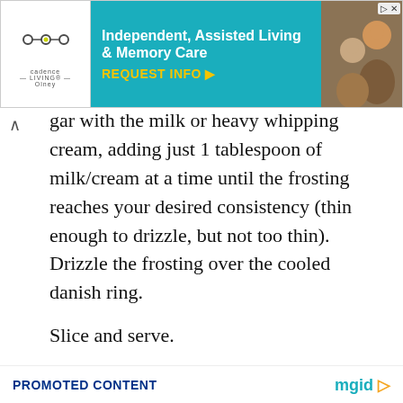[Figure (other): Advertisement banner for Cadence Living Olney - Independent, Assisted Living & Memory Care with REQUEST INFO button and photo of elderly people]
gar with the milk or heavy whipping cream, adding just 1 tablespoon of milk/cream at a time until the frosting reaches your desired consistency (thin enough to drizzle, but not too thin). Drizzle the frosting over the cooled danish ring.
Slice and serve.
PROMOTED CONTENT  mgid